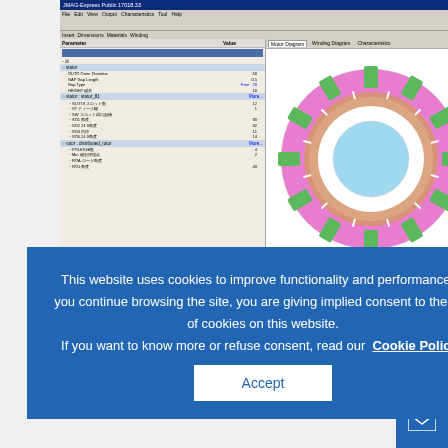[Figure (screenshot): Screenshot of JMAG-Express motor design software showing a parameter panel on the left with Japanese text entries for stator/rotor dimensions, and a cross-sectional motor diagram on the right showing a pink stator ring with green slots and a light blue rotor center]
ry_φ30 (top)
and
ddle)
[Figure (screenshot): Cookie consent overlay dialog on blue background reading: This website uses cookies to improve functionality and performance. If you continue browsing the site, you are giving implied consent to the use of cookies on this website. If you want to know more or refuse consent, read our Cookie Policy. With an Accept button.]